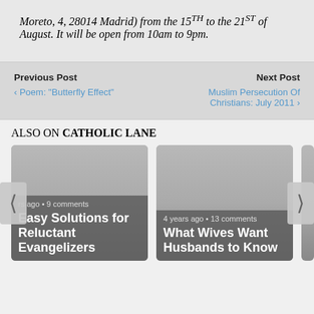Moreto, 4, 28014 Madrid) from the 15th to the 21st of August. It will be open from 10am to 9pm.
Previous Post
‹ Poem: "Butterfly Effect"
Next Post
Muslim Persecution Of Christians: July 2011 ›
ALSO ON CATHOLIC LANE
rs ago • 9 comments
Easy Solutions for Reluctant Evangelizers
4 years ago • 13 comments
What Wives Want Husbands to Know